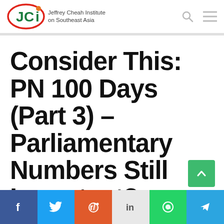Jeffrey Cheah Institute on Southeast Asia
Consider This: PN 100 Days (Part 3) – Parliamentary Numbers Still Important?